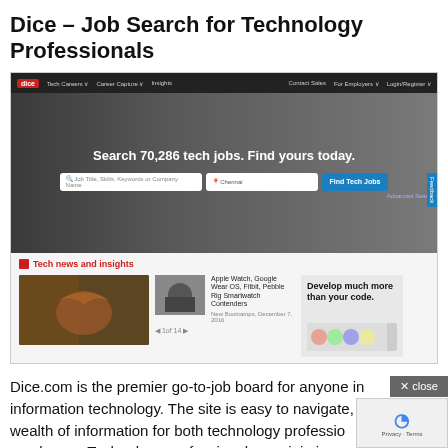Dice – Job Search for Technology Professionals
[Figure (screenshot): Screenshot of Dice.com homepage showing navigation bar, hero section with search for 70,286 tech jobs, and tech news section with cards about Apple Watch, Google Wear OS, Fitbit, Pebble Rig Smartwatch Contenders]
Dice.com is the premier go-to-job board for anyone in information technology. The site is easy to navigate, contains a wealth of information for both technology professionals and employers. Technology professionals can join in a number of discussion groups and networks related to their field and